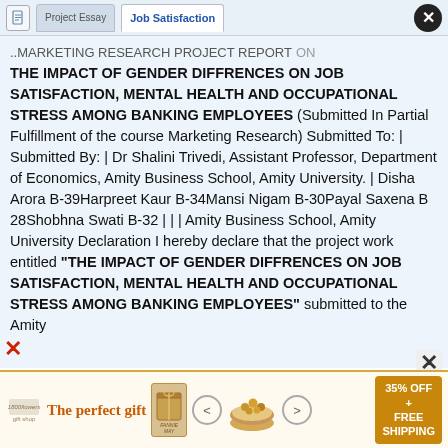Job Satisfaction
..MARKETING RESEARCH PROJECT REPORT ON THE IMPACT OF GENDER DIFFRENCES ON JOB SATISFACTION, MENTAL HEALTH AND OCCUPATIONAL STRESS AMONG BANKING EMPLOYEES (Submitted In Partial Fulfillment of the course Marketing Research) Submitted To: | Submitted By: | Dr Shalini Trivedi, Assistant Professor, Department of Economics, Amity Business School, Amity University. | Disha Arora B-39Harpreet Kaur B-34Mansi Nigam B-30Payal Saxena B 28Shobhna Swati B-32 | | | Amity Business School, Amity University Declaration I hereby declare that the project work entitled “THE IMPACT OF GENDER DIFFRENCES ON JOB SATISFACTION, MENTAL HEALTH AND OCCUPATIONAL STRESS AMONG BANKING EMPLOYEES” submitted to the Amity
[Figure (infographic): Advertisement banner: The perfect gift, 35% OFF + FREE SHIPPING, with product images of a gift box and a bowl of nuts]